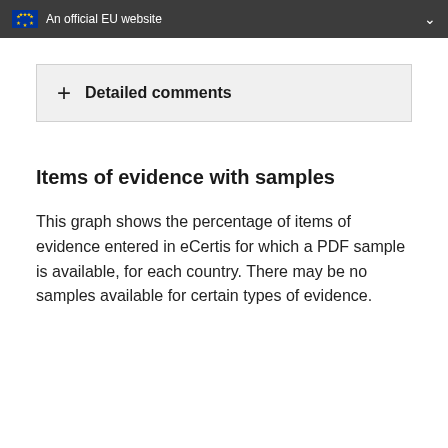An official EU website
Detailed comments
Items of evidence with samples
This graph shows the percentage of items of evidence entered in eCertis for which a PDF sample is available, for each country. There may be no samples available for certain types of evidence.